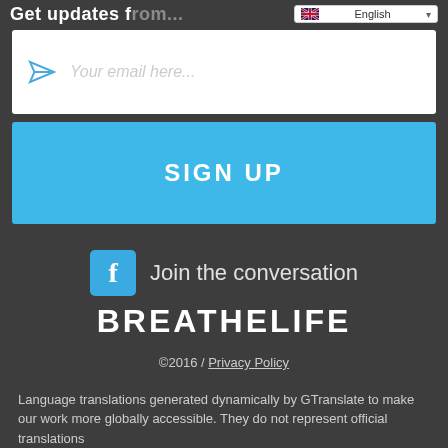Get updates from...
[Figure (screenshot): English language selector dropdown with UK flag]
[Figure (screenshot): Email input field with send icon and placeholder text 'Your email here...']
SIGN UP
Join the conversation
BREATHELIFE
©2016 / Privacy Policy
Language translations generated dynamically by GTranslate to make our work more globally accessible. They do not represent official translations